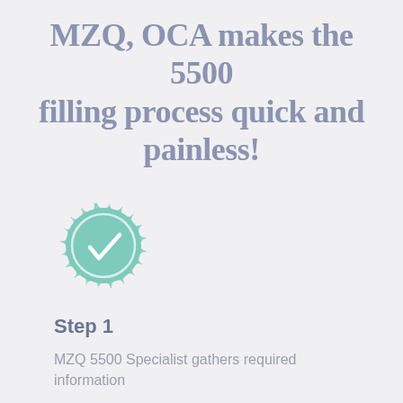MZQ, OCA makes the 5500 filling process quick and painless!
[Figure (illustration): A teal/mint colored badge or seal icon with a checkmark in the center, decorative scalloped border around a circle, representing certification or verification.]
Step 1
MZQ 5500 Specialist gathers required information